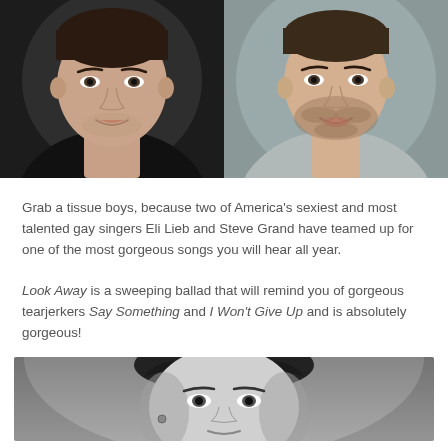[Figure (photo): Two side-by-side photos: left shows a man in a black v-neck shirt against a dark background; right shows a man with stubble in a gray t-shirt against a gray background. Both are close-up shots showing faces and upper chest.]
Grab a tissue boys, because two of America's sexiest and most talented gay singers Eli Lieb and Steve Grand have teamed up for one of the most gorgeous songs you will hear all year.
Look Away is a sweeping ballad that will remind you of gorgeous tearjerkers Say Something and I Won't Give Up and is absolutely gorgeous!
[Figure (photo): Black and white close-up photo of a person's head and upper body, with dark hair, appears to be a performer or musician.]